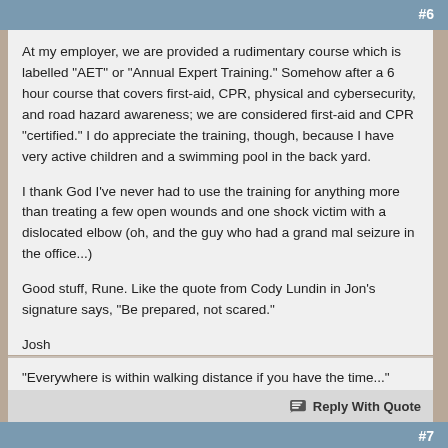#6
At my employer, we are provided a rudimentary course which is labelled "AET" or "Annual Expert Training." Somehow after a 6 hour course that covers first-aid, CPR, physical and cybersecurity, and road hazard awareness; we are considered first-aid and CPR "certified." I do appreciate the training, though, because I have very active children and a swimming pool in the back yard.

I thank God I've never had to use the training for anything more than treating a few open wounds and one shock victim with a dislocated elbow (oh, and the guy who had a grand mal seizure in the office...)

Good stuff, Rune. Like the quote from Cody Lundin in Jon's signature says, "Be prepared, not scared."

Josh
"Everywhere is within walking distance if you have the time..." ~Steven Wright~
#7